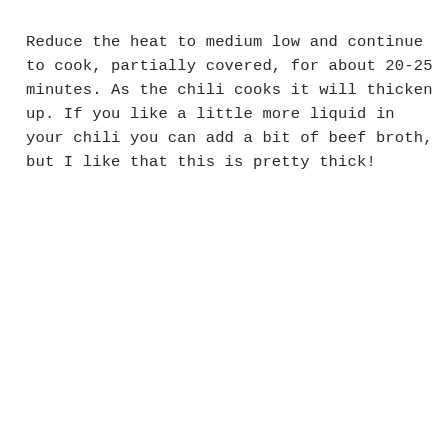Reduce the heat to medium low and continue to cook, partially covered, for about 20-25 minutes. As the chili cooks it will thicken up. If you like a little more liquid in your chili you can add a bit of beef broth, but I like that this is pretty thick!